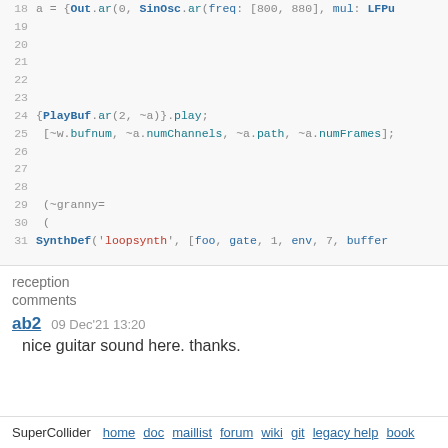[Figure (screenshot): SuperCollider code editor screenshot showing lines 18-31 with syntax-highlighted code including Out.ar, SinOsc.ar, PlayBuf.ar, bufnum, numChannels, path, numFrames, and granny synth definitions]
reception
comments
ab2   09 Dec'21 13:20
nice guitar sound here. thanks.
SuperCollider  home  doc  maillist  forum  wiki  git  legacy help  book